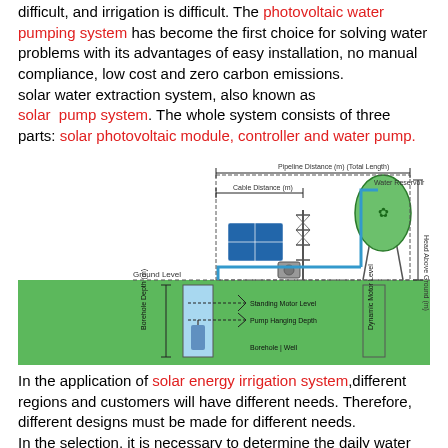difficult, and irrigation is difficult. The photovoltaic water pumping system has become the first choice for solving water problems with its advantages of easy installation, no manual compliance, low cost and zero carbon emissions.
solar water extraction system, also known as solar pump system. The whole system consists of three parts: solar photovoltaic module, controller and water pump.
[Figure (schematic): Diagram of a photovoltaic water pumping system showing solar panels, water tower/reservoir, pipeline distance, cable distance, ground level, borehole depth, standing motor level, pump hanging depth, borehole/well, and dynamic motor level labels.]
In the application of solar energy irrigation system,different regions and customers will have different needs. Therefore, different designs must be made for different needs.
In the selection, it is necessary to determine the daily water